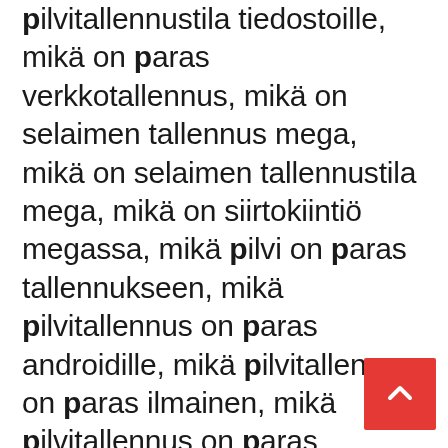pilvitallennustila tiedostoille, mikä on paras verkkotallennus, mikä on selaimen tallennus mega, mikä on selaimen tallennustila mega, mikä on siirtokiintiö megassa, mikä pilvi on paras tallennukseen, mikä pilvitallennus on paras androidille, mikä pilvitallennus on paras ilmainen, mikä pilvitallennus on paras ilmaiseksi, mikä pilvitallennus on paras Intiassa, mikä pilvitallennus on paras iphoneen, mikä pilvitallennus on paras minulle, mikä pilvitallennus on paras pienyrityksille, mikä pilvitallennus on paras reddit, mikä pilvitallennus on paras uk, mikä pilvitallennus on paras valokuville, mikä pilvitallennus on turvallinen, mikä pilvitallennus on turvallista mikey mega mega pilvi, miksi mega cloud